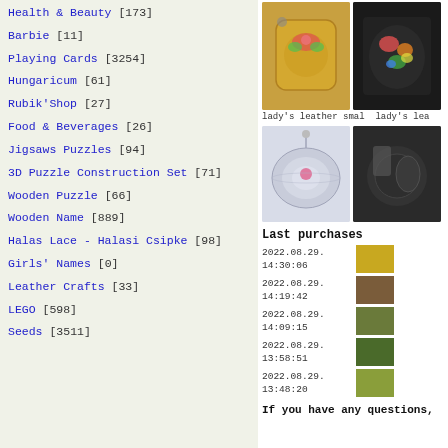Health & Beauty [173]
Barbie [11]
Playing Cards [3254]
Hungaricum [61]
Rubik'Shop [27]
Food & Beverages [26]
Jigsaws Puzzles [94]
3D Puzzle Construction Set [71]
Wooden Puzzle [66]
Wooden Name [889]
Halas Lace - Halasi Csipke [98]
Girls' Names [0]
Leather Crafts [33]
LEGO [598]
Seeds [3511]
[Figure (photo): Two product photos: lady's leather small bag (tan/gold color with floral embroidery) and lady's leather bag (black with colorful floral embroidery)]
lady's leather smal   lady's lea
[Figure (photo): Two product photos: a round white/light blue decorative item with floral detail, and a dark round item (possibly a bag or accessory)]
Last purchases
2022.08.29.
14:30:06
2022.08.29.
14:19:42
2022.08.29.
14:09:15
2022.08.29.
13:58:51
2022.08.29.
13:48:20
If you have any questions,